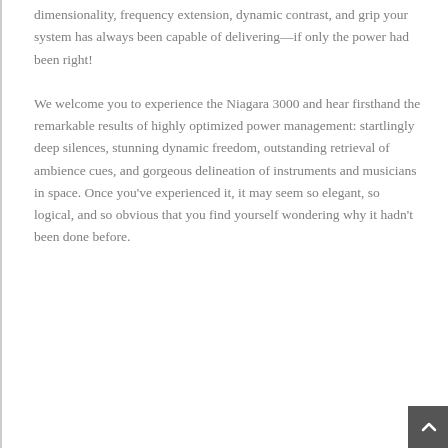dimensionality, frequency extension, dynamic contrast, and grip your system has always been capable of delivering—if only the power had been right!
We welcome you to experience the Niagara 3000 and hear firsthand the remarkable results of highly optimized power management: startlingly deep silences, stunning dynamic freedom, outstanding retrieval of ambience cues, and gorgeous delineation of instruments and musicians in space. Once you've experienced it, it may seem so elegant, so logical, and so obvious that you find yourself wondering why it hadn't been done before.